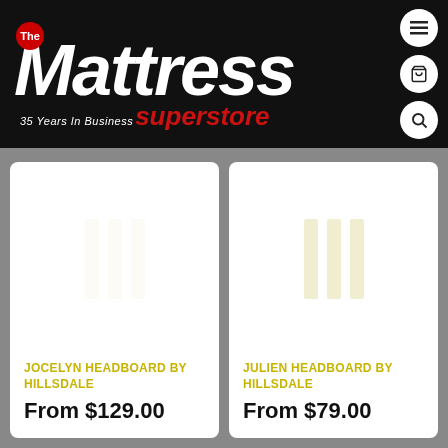[Figure (logo): The Mattress Superstore logo on black background with '35 Years In Business' tagline and navigation icons (hamburger menu, cart, search)]
JOCELYN HEADBOARD BY HILLSDALE
From $129.00
JULIEN HEADBOARD BY HILLSDALE
From $79.00